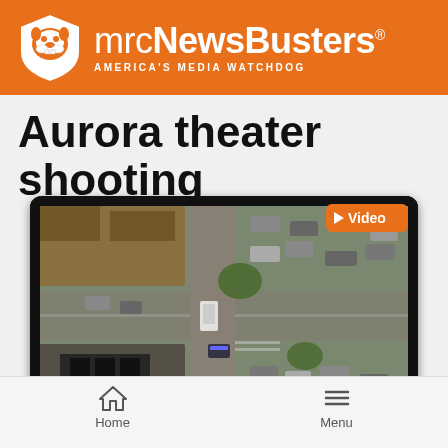mrcNewsBusters — AMERICA'S MEDIA WATCHDOG
Aurora theater shooting
[Figure (screenshot): Aerial news footage thumbnail showing a parking lot and street scene with a Breaking News chyron reading 'MASS SHOOTING AT "BATMAN"' and an ABC logo. A Video badge appears in the upper right corner of the thumbnail.]
Home   Menu